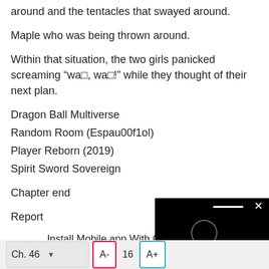around and the tentacles that swayed around.
Maple who was being thrown around.
Within that situation, the two girls panicked screaming "wa�, wa�!" while they thought of their next plan.
Dragon Ball Multiverse
Random Room (Espau00f1ol)
Player Reborn (2019)
Spirit Sword Sovereign
Chapter end
Report
Install Mobile app With Offline Browsing
Click Donate For More
Next Chapter(s) on Patreon
[Figure (screenshot): Black overlay popup box with close X button, a white horizontal bar, and a circle icon on dark background]
Ch. 46  A-  16  A+